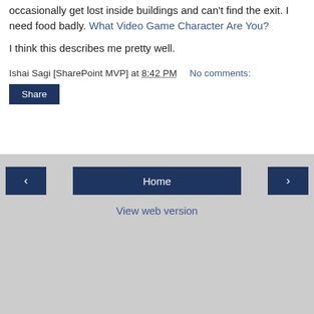occasionally get lost inside buildings and can't find the exit. I need food badly. What Video Game Character Are You?
I think this describes me pretty well.
Ishai Sagi [SharePoint MVP] at 8:42 PM    No comments:
Share
< Home > View web version